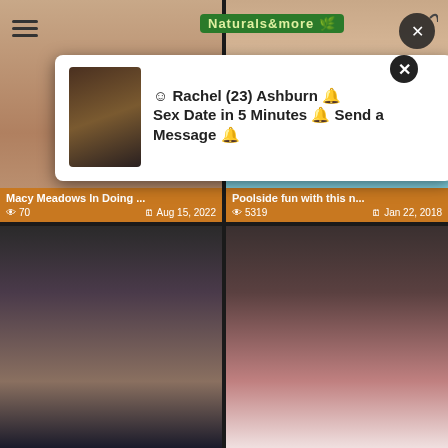[Figure (screenshot): Adult content website screenshot showing a 2x2 grid of video thumbnails with orange overlay bars showing titles and metadata, plus an ad popup overlay with profile image and text 'Rachel (23) Ashburn Sex Date in 5 Minutes Send a Message']
Macy Meadows In Doing ...
👁 70   🗓 Aug 15, 2022
Poolside fun with this n...
👁 5319   🗓 Jan 22, 2018